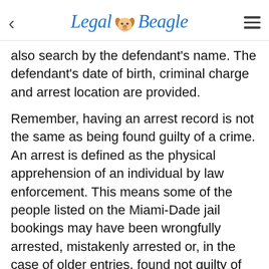Legal Beagle
also search by the defendant's name. The defendant's date of birth, criminal charge and arrest location are provided.
Remember, having an arrest record is not the same as being found guilty of a crime. An arrest is defined as the physical apprehension of an individual by law enforcement. This means some of the people listed on the Miami-Dade jail bookings may have been wrongfully arrested, mistakenly arrested or, in the case of older entries, found not guilty of all charges. Equally, people on the jail bookings list may now be serving time in jail or even have been released following a jail sentence.